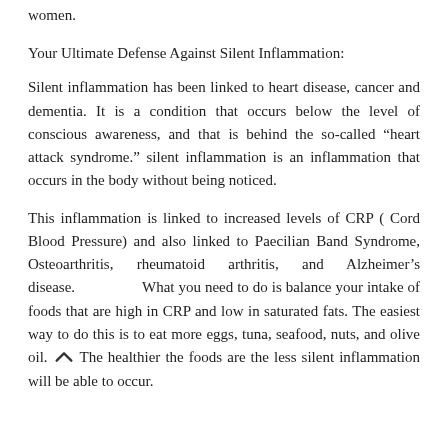women.
Your Ultimate Defense Against Silent Inflammation:
Silent inflammation has been linked to heart disease, cancer and dementia. It is a condition that occurs below the level of conscious awareness, and that is behind the so-called “heart attack syndrome.” silent inflammation is an inflammation that occurs in the body without being noticed.
This inflammation is linked to increased levels of CRP ( Cord Blood Pressure) and also linked to Paecilian Band Syndrome, Osteoarthritis, rheumatoid arthritis, and Alzheimer’s disease.                What you need to do is balance your intake of foods that are high in CRP and low in saturated fats. The easiest way to do this is to eat more eggs, tuna, seafood, nuts, and olive oil. The healthier the foods are the less silent inflammation will be able to occur.